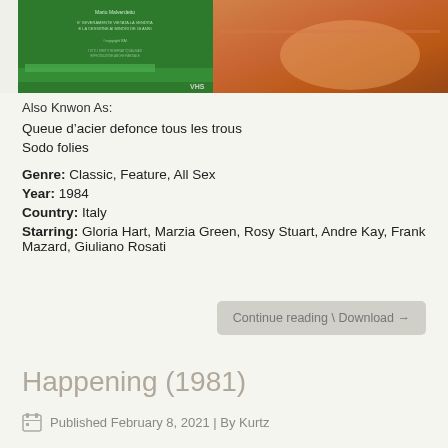[Figure (photo): VHS tape cover showing green Italian cassette cover with text and an image of person on beach towel]
Also Knwon As:
Queue d'acier defonce tous les trous
Sodo folies
Genre: Classic, Feature, All Sex
Year: 1984
Country: Italy
Starring: Gloria Hart, Marzia Green, Rosy Stuart, Andre Kay, Frank Mazard, Giuliano Rosati
Continue reading \ Download →
Happening (1981)
Published February 8, 2021 | By Kurtz